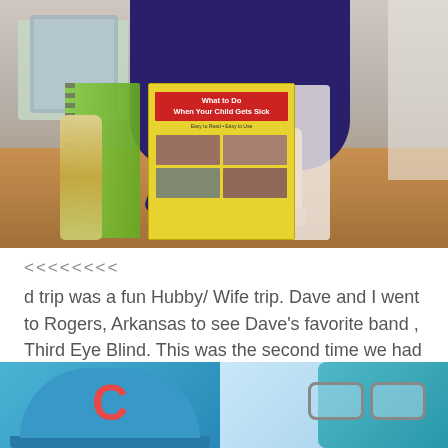[Figure (photo): A toddler in a purple sweatshirt standing on a wooden surface, pointing at a yellow book titled 'What to Do When Your Child Gets Sick'. A spiral notebook and baby bottle are visible nearby.]
<<<<<<<<
d trip was a fun Hubby/ Wife trip. Dave and I went to Rogers, Arkansas to see Dave's favorite band , Third Eye Blind. This was the second time we had gone to see them, but the first as a married couple.
[Figure (photo): Bottom strip showing a blue baseball cap with a pink C letter on the left, and sunglasses with a teal bag on the right.]